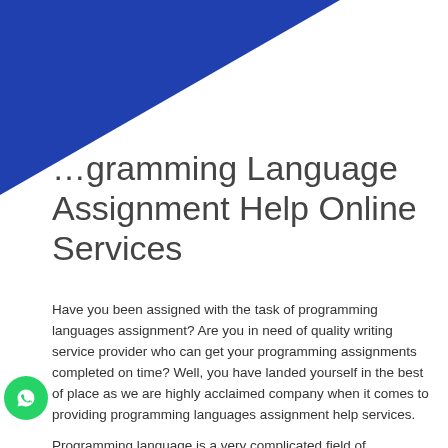[Figure (illustration): Blue diagonal decorative banner in the top-left/top area of the page, with a triangular blue shape extending from the top-left corner diagonally to the middle-right.]
…gramming Language Assignment Help Online Services
Have you been assigned with the task of programming languages assignment? Are you in need of quality writing service provider who can get your programming assignments completed on time? Well, you have landed yourself in the best of place as we are highly acclaimed company when it comes to providing programming languages assignment help services.
Programming language is a very complicated field of